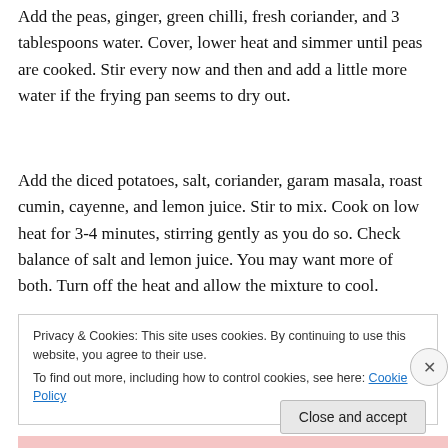Add the peas, ginger, green chilli, fresh coriander, and 3 tablespoons water. Cover, lower heat and simmer until peas are cooked. Stir every now and then and add a little more water if the frying pan seems to dry out.
Add the diced potatoes, salt, coriander, garam masala, roast cumin, cayenne, and lemon juice. Stir to mix. Cook on low heat for 3-4 minutes, stirring gently as you do so. Check balance of salt and lemon juice. You may want more of both. Turn off the heat and allow the mixture to cool.
Privacy & Cookies: This site uses cookies. By continuing to use this website, you agree to their use.
To find out more, including how to control cookies, see here: Cookie Policy
Close and accept